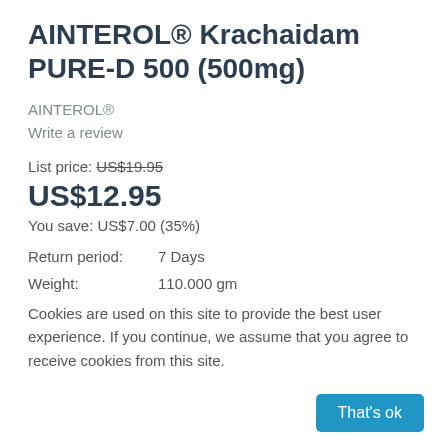AINTEROL® Krachaidam PURE-D 500 (500mg)
AINTEROL®
Write a review
List price: US$19.95
US$12.95
You save: US$7.00 (35%)
Return period:    7 Days
Weight:           110.000 gm
Cookies are used on this site to provide the best user experience. If you continue, we assume that you agree to receive cookies from this site.